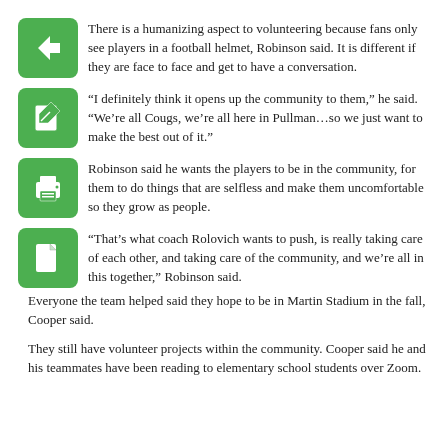There is a humanizing aspect to volunteering because fans only see players in a football helmet, Robinson said. It is different if they are face to face and get to have a conversation.
“I definitely think it opens up the community to them,” he said. “We’re all Cougs, we’re all here in Pullman…so we just want to make the best out of it.”
Robinson said he wants the players to be in the community, for them to do things that are selfless and make them uncomfortable so they grow as people.
“That’s what coach Rolovich wants to push, is really taking care of each other, and taking care of the community, and we’re all in this together,” Robinson said.
Everyone the team helped said they hope to be in Martin Stadium in the fall, Cooper said.
They still have volunteer projects within the community. Cooper said he and his teammates have been reading to elementary school students over Zoom.